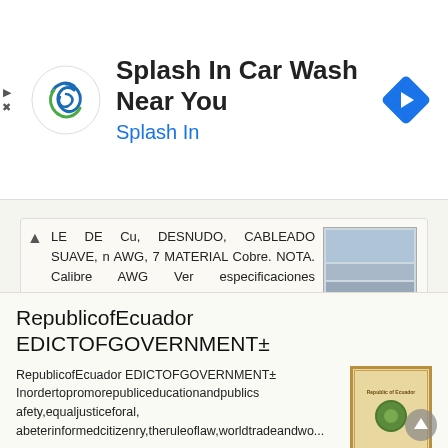[Figure (screenshot): Advertisement banner for 'Splash In Car Wash Near You' with Splash In logo and navigation arrow icon]
LE DE Cu, DESNUDO, CABLEADO SUAVE, n AWG, 7 MATERIAL Cobre. NOTA. Calibre AWG Ver especificaciones particulares. NOTA. Formación No. hilos 7. Adecuado para Instalación (especificar) De acuerdo a usos
Más detalles →
RepublicofEcuador EDICTOFGOVERNMENT±
RepublicofEcuador EDICTOFGOVERNMENT± Inordertopromorepubliceducationandpublicsafety,equaljusticeforal, abeterinformedcitizenry,theruleoflaw,worldtradeandwo...